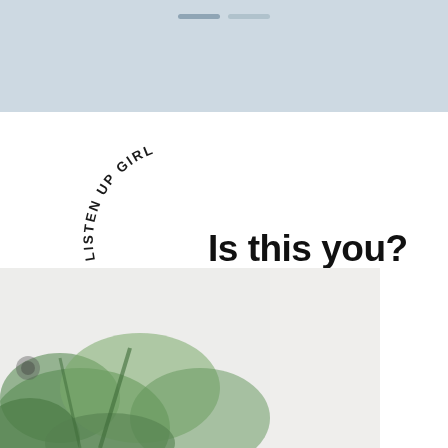[Figure (illustration): Light blue banner at the top of the page with navigation dots/pills]
[Figure (illustration): Curved arc text reading 'LISTEN UP GIRL' arranged in a semicircle]
Is this you?
[Figure (photo): Blurred background photo showing green tropical/monstera plant leaves with a white/off-white wall behind, occupying the bottom portion of the page]